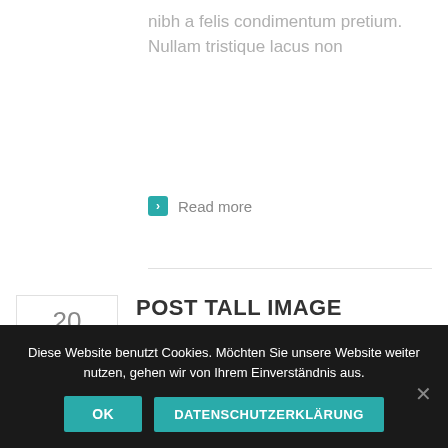nibh a felis condimentum pretium. Nullam tristique lacus non
Read more
POST TALL IMAGE
By admin | No comments yet | Arts, Design
Lorem ipsum dolor sit amet,
Diese Website benutzt Cookies. Möchten Sie unsere Website weiter nutzen, gehen wir von Ihrem Einverständnis aus.
OK
DATENSCHUTZERKLÄRUNG